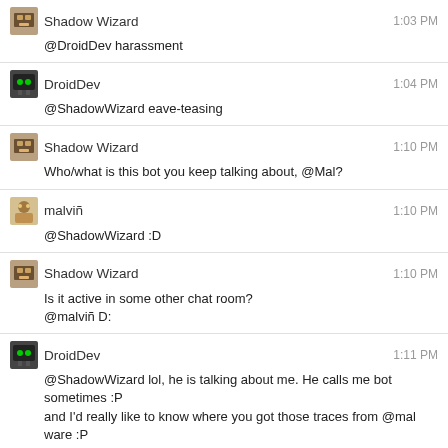Shadow Wizard 1:03 PM @DroidDev harassment
DroidDev 1:04 PM @ShadowWizard eave-teasing
Shadow Wizard 1:10 PM Who/what is this bot you keep talking about, @Mal?
malviñ 1:10 PM @ShadowWizard :D
Shadow Wizard 1:10 PM Is it active in some other chat room? @malviñ D:
DroidDev 1:11 PM @ShadowWizard lol, he is talking about me. He calls me bot sometimes :P and I'd really like to know where you got those traces from @mal ware :P
malviñ 1:12 PM @DroidDev malware ^^ @ShadowWizard Droid==Bot ?
SPArchaeologist 1:13 PM still trying to remember that word